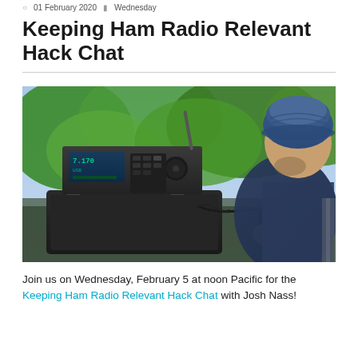01 February 2020  Wednesday
Keeping Ham Radio Relevant Hack Chat
[Figure (photo): A person wearing a blue knit cap operating a portable ham radio transceiver mounted on a black Pelican case outdoors, holding a microphone, with green foliage in the background.]
Join us on Wednesday, February 5 at noon Pacific for the Keeping Ham Radio Relevant Hack Chat with Josh Nass!